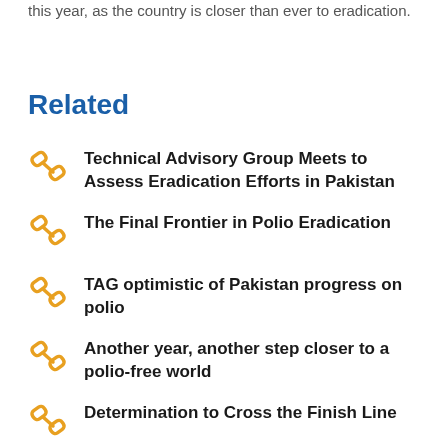this year, as the country is closer than ever to eradication.
Related
Technical Advisory Group Meets to Assess Eradication Efforts in Pakistan
The Final Frontier in Polio Eradication
TAG optimistic of Pakistan progress on polio
Another year, another step closer to a polio-free world
Determination to Cross the Finish Line